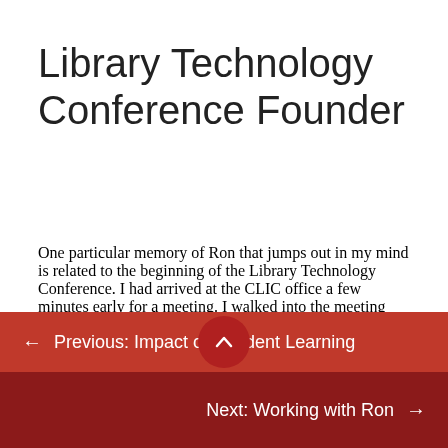Library Technology Conference Founder
One particular memory of Ron that jumps out in my mind is related to the beginning of the Library Technology Conference. I had arrived at the CLIC office a few minutes early for a meeting. I walked into the meeting room w…e a few librarians (including Ron) were already gathered and visiting…
← Previous: Impact on Student Learning
Next: Working with Ron →